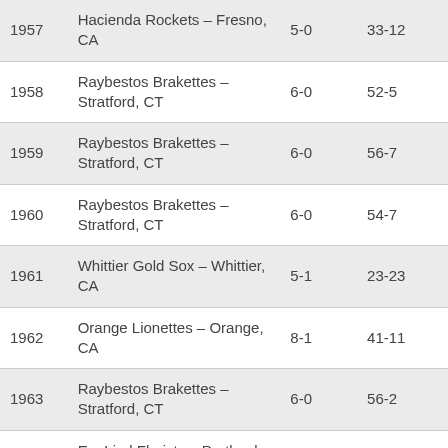| Year | Team | Record | Score |
| --- | --- | --- | --- |
| 1957 | Hacienda Rockets – Fresno, CA | 5-0 | 33-12 |
| 1958 | Raybestos Brakettes – Stratford, CT | 6-0 | 52-5 |
| 1959 | Raybestos Brakettes – Stratford, CT | 6-0 | 56-7 |
| 1960 | Raybestos Brakettes – Stratford, CT | 6-0 | 54-7 |
| 1961 | Whittier Gold Sox – Whittier, CA | 5-1 | 23-23 |
| 1962 | Orange Lionettes – Orange, CA | 8-1 | 41-11 |
| 1963 | Raybestos Brakettes – Stratford, CT | 6-0 | 56-2 |
| 1964 | Erv Lind Florists – Portland, OR | 5-0 | 60-16-1 |
| 1965 | Orange Lionettes – Orange, CA | 5-0 | 50-4 |